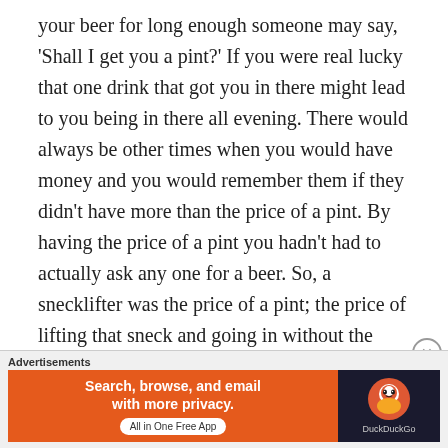your beer for long enough someone may say, 'Shall I get you a pint?' If you were real lucky that one drink that got you in there might lead to you being in there all evening. There would always be other times when you would have money and you would remember them if they didn't have more than the price of a pint. By having the price of a pint you hadn't had to actually ask any one for a beer. So, a snecklifter was the price of a pint; the price of lifting that sneck and going in without the shame of not having any money. All about pride perhaps, but it is likely that you had gone to a friend at work beforehand and asked for, yes you guessed it, a
[Figure (other): DuckDuckGo advertisement banner. Orange background with white bold text 'Search, browse, and email with more privacy.' and a white pill-shaped button 'All in One Free App'. Right side has dark background with DuckDuckGo duck logo and 'DuckDuckGo' label.]